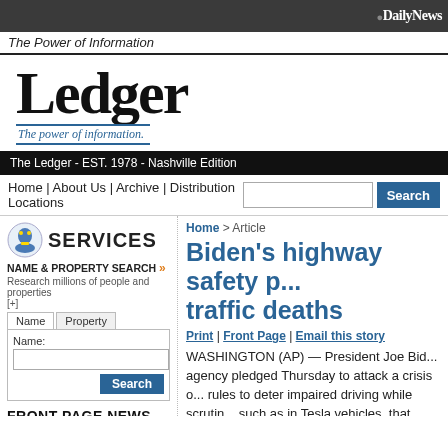DailyNews
The Power of Information
Ledger
The power of information.
The Ledger - EST. 1978 - Nashville Edition
Home | About Us | Archive | Distribution Locations
SERVICES
NAME & PROPERTY SEARCH »
Research millions of people and properties
[+]
Name:
Search
FRONT PAGE NEWS
Home > Article
Biden's highway safety p... traffic deaths
Print | Front Page | Email this story
WASHINGTON (AP) — President Joe Bid... agency pledged Thursday to attack a crisis o... rules to deter impaired driving while scrutin... such as in Tesla vehicles, that could put peo...
Steven Cliff, a former California pollution r...